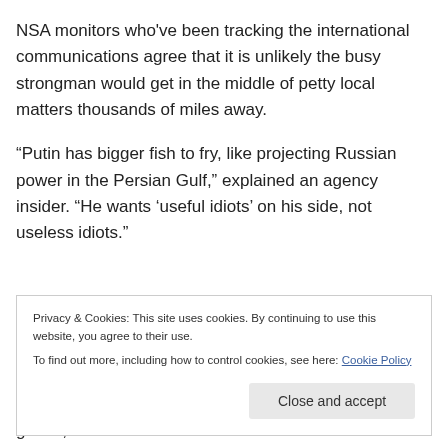NSA monitors who've been tracking the international communications agree that it is unlikely the busy strongman would get in the middle of petty local matters thousands of miles away.
“Putin has bigger fish to fry, like projecting Russian power in the Persian Gulf,” explained an agency insider. “He wants ‘useful idiots’ on his side, not useless idiots.”
Privacy & Cookies: This site uses cookies. By continuing to use this website, you agree to their use. To find out more, including how to control cookies, see here: Cookie Policy
grown, the NSA source admits.